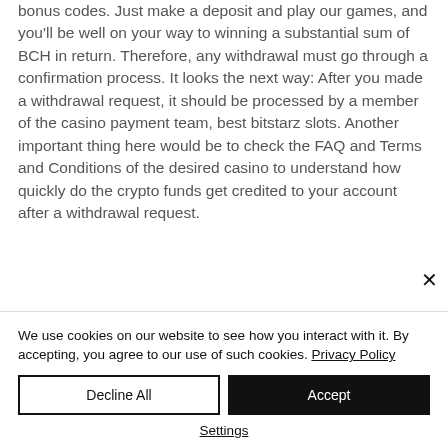bonus codes. Just make a deposit and play our games, and you'll be well on your way to winning a substantial sum of BCH in return. Therefore, any withdrawal must go through a confirmation process. It looks the next way: After you made a withdrawal request, it should be processed by a member of the casino payment team, best bitstarz slots. Another important thing here would be to check the FAQ and Terms and Conditions of the desired casino to understand how quickly do the crypto funds get credited to your
We use cookies on our website to see how you interact with it. By accepting, you agree to our use of such cookies. Privacy Policy
Decline All
Accept
Settings